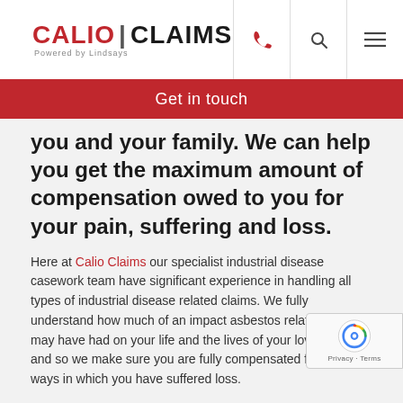CALIO | CLAIMS Powered by Lindsays
Get in touch
you and your family. We can help you get the maximum amount of compensation owed to you for your pain, suffering and loss.
Here at Calio Claims our specialist industrial disease casework team have significant experience in handling all types of industrial disease related claims. We fully understand how much of an impact asbestos related illness may have had on your life and the lives of your loved ones, and so we make sure you are fully compensated for all of the ways in which you have suffered loss.
To discuss your specific circumstances and how we can help, contact us today for a free initial assessment of our claim. You can get in touch by calling us on 0800 458 0826 or completing our online enquiry form and a member of our team will get back to you right away. We look forward